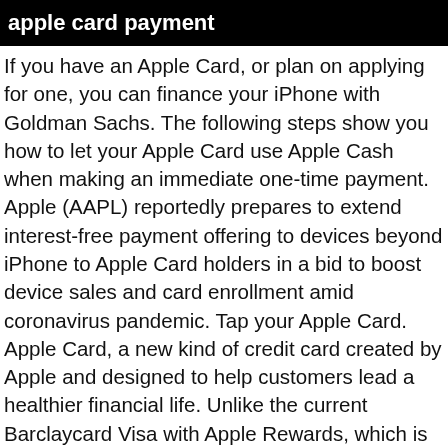apple card payment
If you have an Apple Card, or plan on applying for one, you can finance your iPhone with Goldman Sachs. The following steps show you how to let your Apple Card use Apple Cash when making an immediate one-time payment. Apple (AAPL) reportedly prepares to extend interest-free payment offering to devices beyond iPhone to Apple Card holders in a bid to boost device sales and card enrollment amid coronavirus pandemic. Tap your Apple Card. Apple Card, a new kind of credit card created by Apple and designed to help customers lead a healthier financial life. Unlike the current Barclaycard Visa with Apple Rewards, which is a partner card, the Apple Card is owned and operated by Apple. A set dollar amount (depending on which iPhone you buy) will be charged to your Apple Card each month. The program allows Apple Card holders to spread out the cost of many new Apple purchases over a period of 6 to 12 months, depending on the product, at a 0% interest rate. (Updated 8/20/19). Text reminders are nothing new – most issuers allow you to set up text